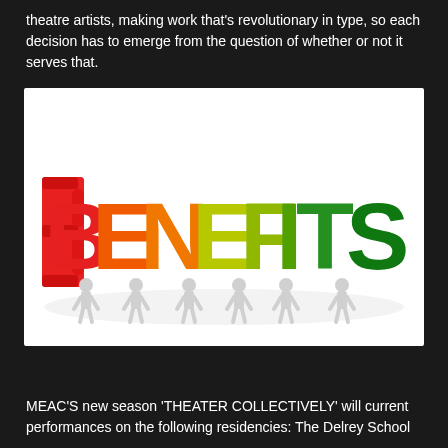theatre artists, making work that's revolutionary in type, so each decision has to emerge from the question of whether or not it serves that.
[Figure (illustration): Colorful 3D illustration of cartoon figures holding up letters spelling 'BENEFITS'. Each letter is a different color in a rainbow gradient from red (B) to orange (E) to yellow-orange (N) to yellow-green (E) to lime green (F) to green (I) to dark green (T) to dark green (S). Small white humanoid figures are visible between/behind the letters.]
MEAC'S new season 'THEATER COLLECTIVELY' will current performances on the following residencies: The Delrey School